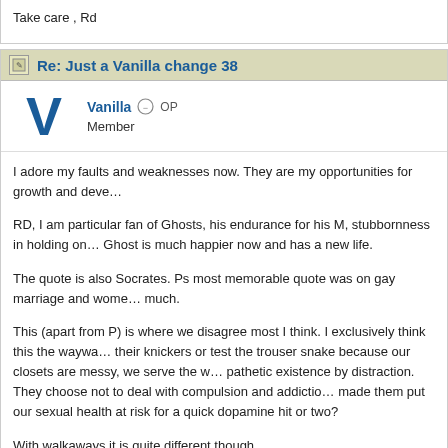Take care , Rd
Re: Just a Vanilla change 38
Vanilla  OP
Member
I adore my faults and weaknesses now. They are my opportunities for growth and deve…
RD, I am particular fan of Ghosts, his endurance for his M, stubbornness in holding on… Ghost is much happier now and has a new life.
The quote is also Socrates. Ps most memorable quote was on gay marriage and wome… much.
This (apart from P) is where we disagree most I think. I exclusively think this the waywa… their knickers or test the trouser snake because our closets are messy, we serve the w… pathetic existence by distraction. They choose not to deal with compulsion and addictio… made them put our sexual health at risk for a quick dopamine hit or two?
With walkaways it is quite different though.
Do I believe that we should look to ourselves and our faults? Yes of course. I have high…